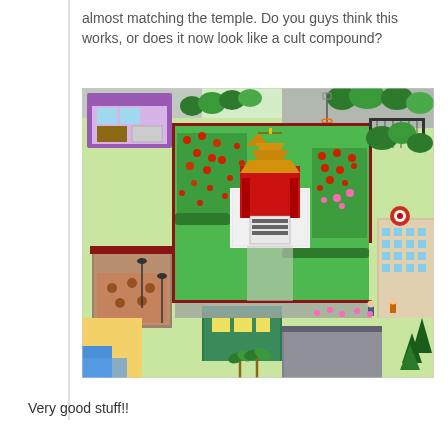almost matching the temple. Do you guys think this works, or does it now look like a cult compound?
[Figure (screenshot): Isometric pixel-art style screenshot of a Simpsons Tapped Out game showing a Chinese temple surrounded by trees, buildings, a beach, and city streets.]
Very good stuff!!